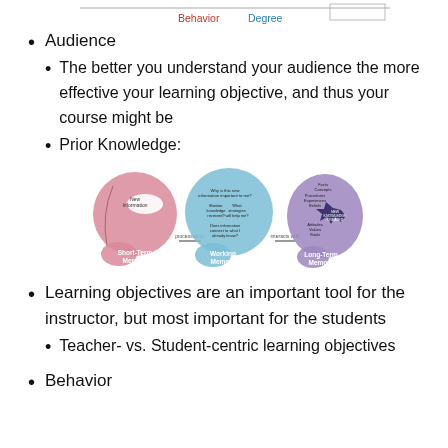[Figure (other): Partial table header at top of page showing 'Behavior' and 'Degree' column labels with a horizontal line above them.]
Audience
The better you understand your audience the more effective your learning objective, and thus your course might be
Prior Knowledge:
[Figure (illustration): Diagram of three overlapping human head silhouettes illustrating Short-Term Memory (pink, left), Working Memory (blue, center), and Long-Term Memory (purple, right), with labeled arrows showing 'processed by' and 'interacts with' connections between them. Each head contains text about memory functions.]
Learning objectives are an important tool for the instructor, but most important for the students
Teacher- vs. Student-centric learning objectives
Behavior